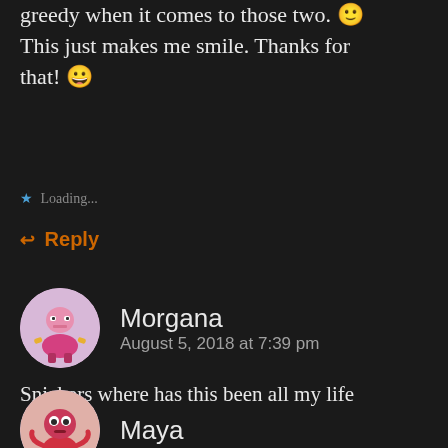greedy when it comes to those two. 😊 This just makes me smile. Thanks for that! 😀
⭐ Loading...
↩ Reply
Morgana
August 5, 2018 at 7:39 pm
Snickers where has this been all my life
⭐ Loading...
↩ Reply
Maya